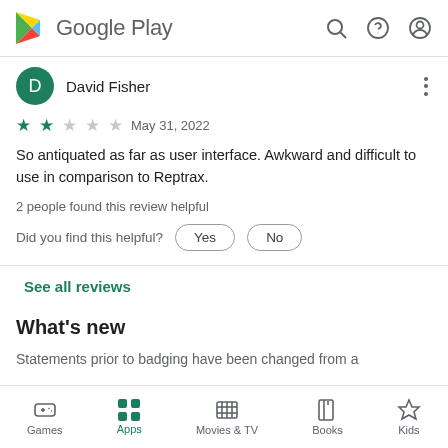Google Play
David Fisher
★★☆☆☆  May 31, 2022
So antiquated as far as user interface. Awkward and difficult to use in comparison to Reptrax.
2 people found this review helpful
Did you find this helpful?  Yes  No
See all reviews
What's new
Statements prior to badging have been changed from a
Games  Apps  Movies & TV  Books  Kids